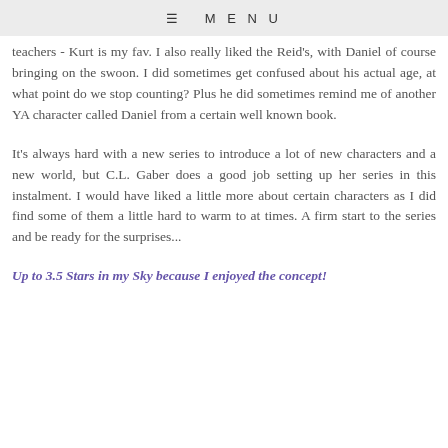≡ MENU
teachers - Kurt is my fav. I also really liked the Reid's, with Daniel of course bringing on the swoon. I did sometimes get confused about his actual age, at what point do we stop counting? Plus he did sometimes remind me of another YA character called Daniel from a certain well known book.
It's always hard with a new series to introduce a lot of new characters and a new world, but C.L. Gaber does a good job setting up her series in this instalment. I would have liked a little more about certain characters as I did find some of them a little hard to warm to at times. A firm start to the series and be ready for the surprises...
Up to 3.5 Stars in my Sky because I enjoyed the concept!